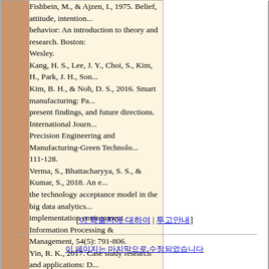| references cell with Fishbein, Kang, Verma, Yin entries |
| bullet list with CJK author names |
| dates row: 2021-06-01 | CJK label | 2021-06-18 |
[이 학술지에 대하여 | 투고안내]
이 페이지는 마지막으로 수정되었습니다